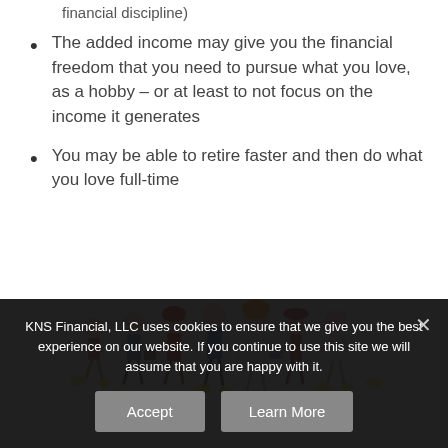The added income may give you the financial freedom that you need to pursue what you love, as a hobby – or at least to not focus on the income it generates
You may be able to retire faster and then do what you love full-time
[Figure (illustration): Cartoon illustration of a diverse group of people walking, carrying bags and items, depicted in a colorful comic style]
KNS Financial, LLC uses cookies to ensure that we give you the best experience on our website. If you continue to use this site we will assume that you are happy with it.
Accept   Learn More